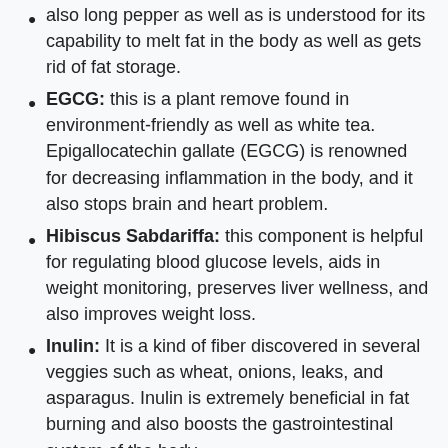also long pepper as well as is understood for its capability to melt fat in the body as well as gets rid of fat storage.
EGCG: this is a plant remove found in environment-friendly as well as white tea. Epigallocatechin gallate (EGCG) is renowned for decreasing inflammation in the body, and it also stops brain and heart problem.
Hibiscus Sabdariffa: this component is helpful for regulating blood glucose levels, aids in weight monitoring, preserves liver wellness, and also improves weight loss.
Inulin: It is a kind of fiber discovered in several veggies such as wheat, onions, leaks, and asparagus. Inulin is extremely beneficial in fat burning and also boosts the gastrointestinal system of the body.